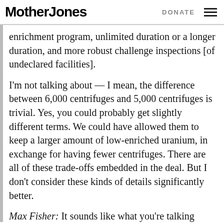Mother Jones   DONATE
enrichment program, unlimited duration or a longer duration, and more robust challenge inspections [of undeclared facilities].
I'm not talking about — I mean, the difference between 6,000 centrifuges and 5,000 centrifuges is trivial. Yes, you could probably get slightly different terms. We could have allowed them to keep a larger amount of low-enriched uranium, in exchange for having fewer centrifuges. There are all of these trade-offs embedded in the deal. But I don't consider these kinds of details significantly better.
Max Fisher: It sounds like what you're talking